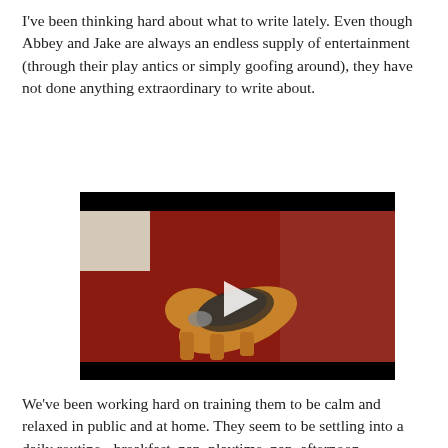I've been thinking hard about what to write lately. Even though Abbey and Jake are always an endless supply of entertainment (through their play antics or simply goofing around), they have not done anything extraordinary to write about.
[Figure (screenshot): Embedded video player showing a dog leaning against a red wall, wearing a patterned vest, with a white play button icon in the center. The player has black bars at the top and bottom.]
We've been working hard on training them to be calm and relaxed in public and at home. They seem to be settling into a  daily routine - breakfast, nap, playtime, nap, afternoon